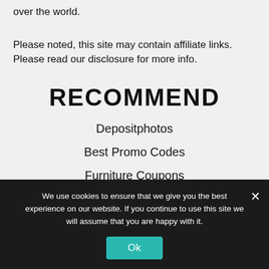over the world.
Please noted, this site may contain affiliate links. Please read our disclosure for more info.
RECOMMEND
Depositphotos
Best Promo Codes
Furniture Coupons
We use cookies to ensure that we give you the best experience on our website. If you continue to use this site we will assume that you are happy with it.